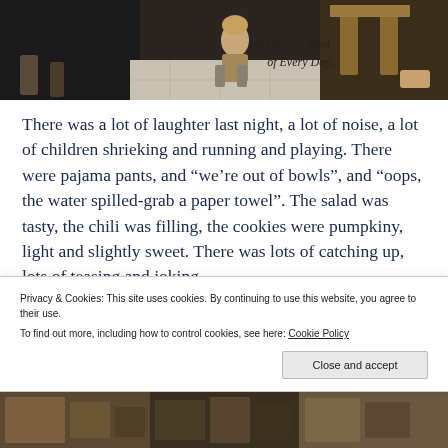[Figure (photo): A child running in a kitchen/indoor space with adults visible, overlaid with cursive text reading 'Making the Most of Every Day']
There was a lot of laughter last night, a lot of noise, a lot of children shrieking and running and playing. There were pajama pants, and “we’re out of bowls”, and “oops, the water spilled-grab a paper towel”. The salad was tasty, the chili was filling, the cookies were pumpkiny, light and slightly sweet. There was lots of catching up, lots of teasing and joking.
Privacy & Cookies: This site uses cookies. By continuing to use this website, you agree to their use.
To find out more, including how to control cookies, see here: Cookie Policy
[Figure (photo): Bottom strip of photos showing indoor scenes]